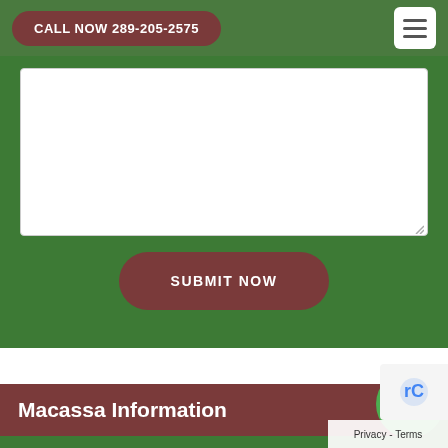CALL NOW 289-205-2575
[Figure (screenshot): White textarea input box for a contact form on a green background]
SUBMIT NOW
Macassa Information
[Figure (other): WhatsApp green circle button with phone handset icon]
Privacy - Terms